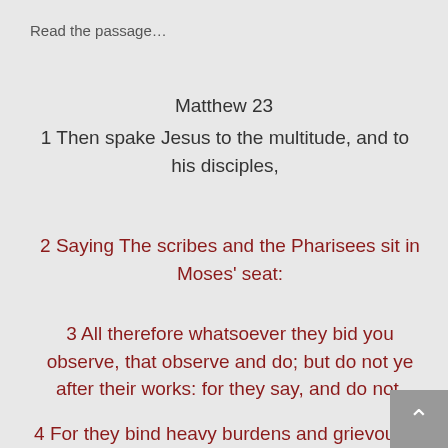Read the passage…
Matthew 23
1 Then spake Jesus to the multitude, and to his disciples,
2 Saying The scribes and the Pharisees sit in Moses' seat:
3 All therefore whatsoever they bid you observe, that observe and do; but do not ye after their works: for they say, and do not.
4 For they bind heavy burdens and grievous to be borne, and lay them on men's shoulders; but they themselves will not move them with one of their fingers.